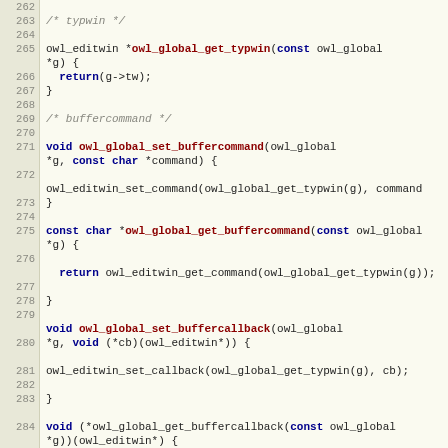[Figure (screenshot): Source code viewer showing C code lines 262-286 for owl_global functions: owl_global_get_typwin, owl_global_set_buffercommand, owl_global_get_buffercommand, owl_global_set_buffercallback, owl_global_get_buffercallback]